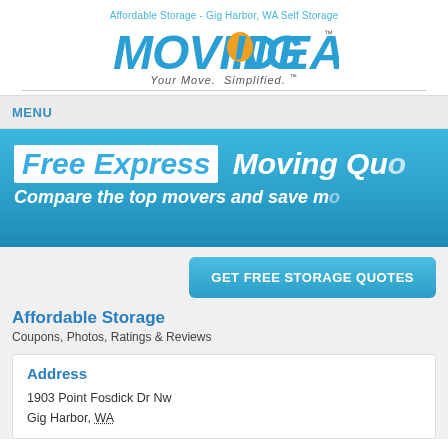Affordable Storage - Gig Harbor, WA Self Storage
[Figure (logo): MovingIdeas logo with blue and orange lettering and tagline 'Your Move. Simplified.']
MENU
[Figure (infographic): Blue banner with 'Free Express Moving Quo...' and 'Compare the top movers and save m...' text]
GET FREE STORAGE QUOTES
Affordable Storage
Coupons, Photos, Ratings & Reviews
Address
1903 Point Fosdick Dr Nw
Gig Harbor, WA